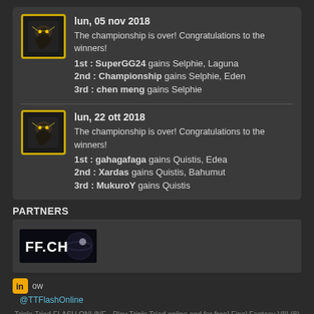lun, 05 nov 2018
The championship is over! Congratulations to the winners!
1st : SuperGG24 gains Selphie, Laguna
2nd : Championship gains Selphie, Eden
3rd : chen meng gains Selphie
lun, 22 ott 2018
The championship is over! Congratulations to the winners!
1st : gahagafaga gains Quistis, Edea
2nd : Xardas gains Quistis, Bahumut
3rd : MukuroY gains Quistis
PARTNERS
[Figure (logo): FF.CH partner logo — dark background with stylized FF.CH text and planet/sphere image]
Follow @TTFlashOnline
Triple Triad FLASH ONLINE - Play Triple Triad online and for free! Final Fantasy VIII (8) Flash card game
Final Fantasy, Triple Triad, the cards visuals and names are property of Square Enix
©. Privacy policy
Help us to maintain TTFO, thanks for a donation!